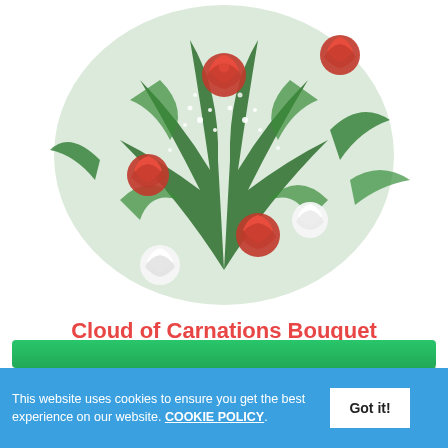[Figure (photo): A bouquet of red and white carnations with green ferns and white baby's breath on a white background.]
Cloud of Carnations Bouquet
Delivery in 3 days
from
USD 124.99
GBP108.50 | EUR 125.85
This website uses cookies to ensure you get the best experience on our website. COOKIE POLICY.
Got it!